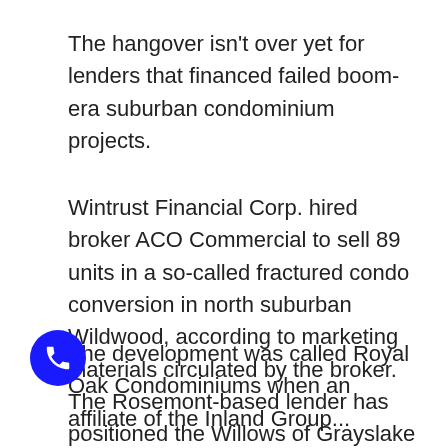The hangover isn't over yet for lenders that financed failed boom-era suburban condominium projects.
Wintrust Financial Corp. hired broker ACO Commercial to sell 89 units in a so-called fractured condo conversion in north suburban Wildwood, according to marketing materials circulated by the broker. The Rosemont-based lender has positioned the Willows of Grayslake as a rental property, counting on demand from yield-hungry investors.
The development was called Royal Oak Condominiums when an affiliate of the Inland Group...